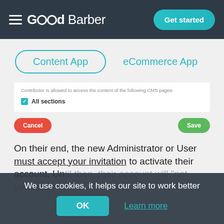[Figure (screenshot): GoodBarber website header with logo and 'Get started' button on dark blue background]
[Figure (screenshot): UI with 'Content App' and 'eCommerce App' tab buttons, a form box showing 'Contributor is allowed to access the content of the following CMS pages: All sections' with a blue checkbox, and Cancel/Save buttons]
On their end, the new Administrator or User must accept your invitation to activate their account. Until then, their account will "not yet valid".
We use cookies, it helps our site to work better
OK
Learn more